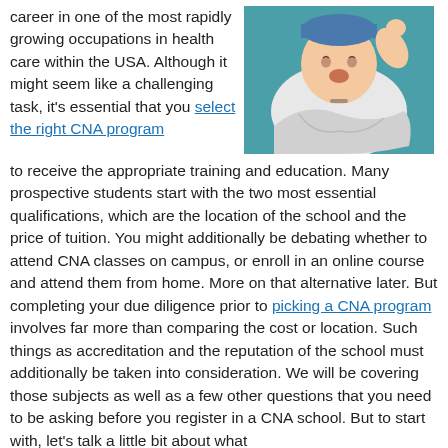career in one of the most rapidly growing occupations in health care within the USA. Although it might seem like a challenging task, it's essential that you select the right CNA program to receive the appropriate training and education. Many prospective students start with the two most essential qualifications, which are the location of the school and the price of tuition. You might additionally be debating whether to attend CNA classes on campus, or enroll in an online course and attend them from home. More on that alternative later. But completing your due diligence prior to picking a CNA program involves far more than comparing the cost or location. Such things as accreditation and the reputation of the school must additionally be taken into consideration. We will be covering those subjects as well as a few other questions that you need to be asking before you register in a CNA school. But to start with, let's talk a little bit about what
[Figure (photo): A newborn baby wrapped in a white blanket being held, wearing a small blue hat, against a teal/blue background.]